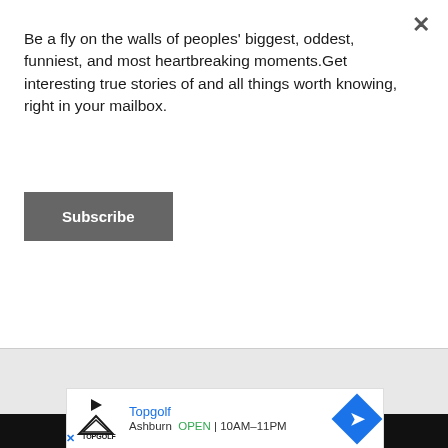Be a fly on the walls of peoples' biggest, oddest, funniest, and most heartbreaking moments.Get interesting true stories of and all things worth knowing, right in your mailbox.
Subscribe
[Figure (screenshot): Gray scrollable area with circular hamburger menu icon containing three horizontal lines]
[Figure (screenshot): Advertisement banner for Topgolf showing brand logo, Ashburn location, OPEN 10AM-11PM, with navigation diamond arrow icon]